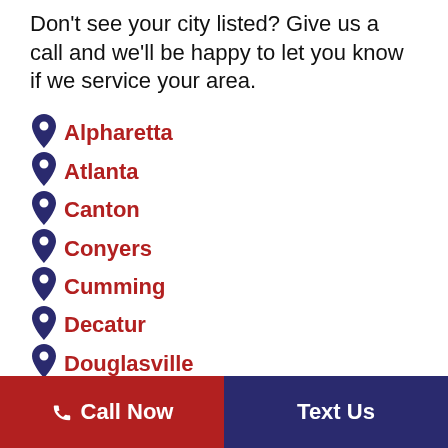Don't see your city listed? Give us a call and we'll be happy to let you know if we service your area.
Alpharetta
Atlanta
Canton
Conyers
Cumming
Decatur
Douglasville
Lawrenceville
Marietta
Newnan
Peachtree City
Call Now | Text Us